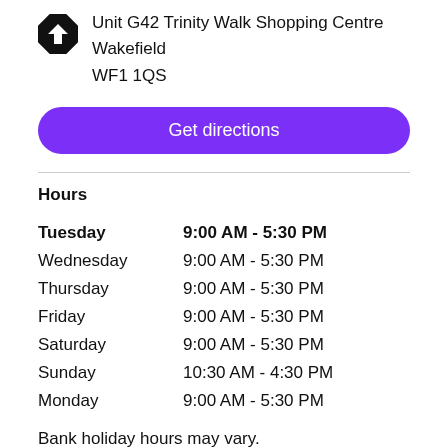Unit G42 Trinity Walk Shopping Centre
Wakefield
WF1 1QS
Get directions
Hours
| Day | Hours |
| --- | --- |
| Tuesday | 9:00 AM - 5:30 PM |
| Wednesday | 9:00 AM - 5:30 PM |
| Thursday | 9:00 AM - 5:30 PM |
| Friday | 9:00 AM - 5:30 PM |
| Saturday | 9:00 AM - 5:30 PM |
| Sunday | 10:30 AM - 4:30 PM |
| Monday | 9:00 AM - 5:30 PM |
Bank holiday hours may vary.